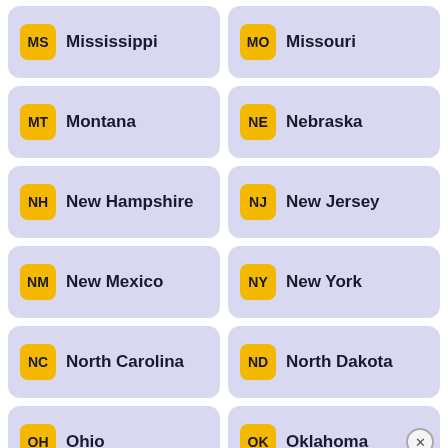MS Mississippi
MO Missouri
MT Montana
NE Nebraska
NH New Hampshire
NJ New Jersey
NM New Mexico
NY New York
NC North Carolina
ND North Dakota
OH Ohio
OK Oklahoma
[Figure (screenshot): Disney Bundle advertisement banner: hulu, Disney+, ESPN+ logos with 'GET THE DISNEY BUNDLE' call to action and disclaimer text about Hulu and Disney related entities.]
OR (partial)
PA Pennsylvania (partial, cut off)